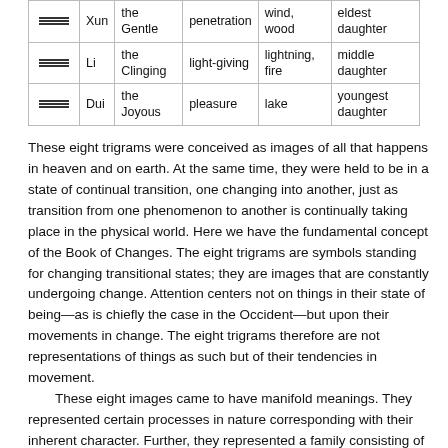| Symbol | Name | Attribute | Image | Family Relationship |
| --- | --- | --- | --- | --- |
| ☳☳ | Sun | the Gentle | penetration | wind, wood | eldest daughter |
| ☴☴ | Li | the Clinging | light-giving | lightning, fire | middle daughter |
| ☱☱ | Dui | the Joyous | pleasure | lake | youngest daughter |
These eight trigrams were conceived as images of all that happens in heaven and on earth. At the same time, they were held to be in a state of continual transition, one changing into another, just as transition from one phenomenon to another is continually taking place in the physical world. Here we have the fundamental concept of the Book of Changes. The eight trigrams are symbols standing for changing transitional states; they are images that are constantly undergoing change. Attention centers not on things in their state of being—as is chiefly the case in the Occident—but upon their movements in change. The eight trigrams therefore are not representations of things as such but of their tendencies in movement.
These eight images came to have manifold meanings. They represented certain processes in nature corresponding with their inherent character. Further, they represented a family consisting of father, mother, three sons, and three daughters, not in the mythological sense in which the Greek gods peopled Olympus, but in what might be called an abstract sense, that is, they represented not objective entities but functions.
The sons represent the principle of movement in its various stages—beginning of movement, danger in movement, rest and completion of